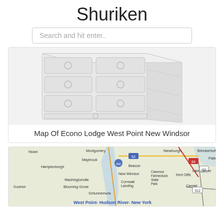Shuriken
Search and hit enter..
[Figure (illustration): Illustration of a white chest of drawers / dresser with multiple drawers and round handles, shown at a slight angle]
Map Of Econo Lodge West Point New Windsor
[Figure (map): Road map showing the area around West Point, New Windsor, Newburgh, Beacon, Maybrook, Montgomery, Goshen, Hamptonburgh, Washingtonville, Blooming Grove, Cornwall Landing, Schunnemunk, Brinckerhoff, Clarence Fahnestock State Park, Kent Cliffs, Lake Carmel, Carmel, Patterson regions with roads including route 52, 9W, 84, 22, 312. Caption reads West Point- Hudson River- New York]